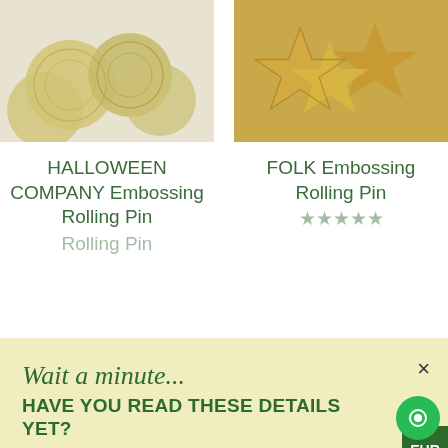[Figure (photo): Two product images side by side: left shows Halloween Company Embossing Rolling Pin cookie product (round embossed cookies with floral/swirl patterns on white background), right shows Folk Embossing Rolling Pin product (golden-brown star-shaped embossed cookies)]
HALLOWEEN COMPANY Embossing Rolling Pin
FOLK Embossing Rolling Pin
Wait a minute...
HAVE YOU READ THESE DETAILS YET?
Algis Crafts uses cookies to personalize content to make our site better for you to use. Read our Privacy Policy to opt-out or learn more.
Got it!